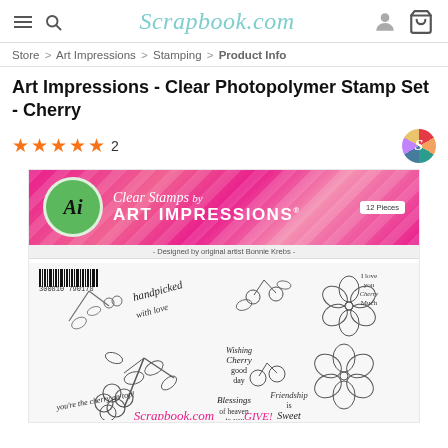Scrapbook.com
Store > Art Impressions > Stamping > Product Info
Art Impressions - Clear Photopolymer Stamp Set - Cherry
★★★★★ 2
[Figure (photo): Product image of Art Impressions Clear Photopolymer Stamp Set - Cherry. Pink branded header band with Ai logo and 'Clear Stamps by ART IMPRESSIONS - Designed by original artist Bonnie Krebs - 12 Pieces'. Below is a white stamp sheet with cherry blossom and cherry branch outline stamps, plus cursive text stamps reading phrases like 'you're the cherry on top', 'Wishing you a Cherry good day', 'I love you Cherry Much', 'Blessings of heaven to you', 'Friendship is Sweet'. Scrapbook.com logo visible at bottom in pink.]